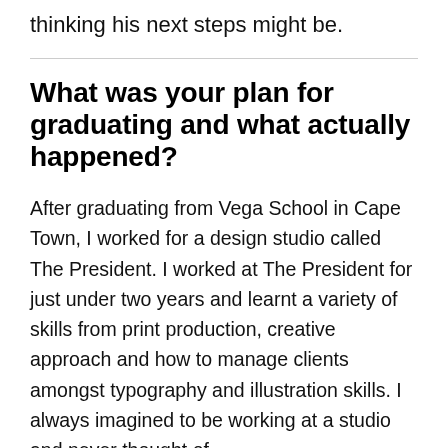thinking his next steps might be.
What was your plan for graduating and what actually happened?
After graduating from Vega School in Cape Town, I worked for a design studio called The President. I worked at The President for just under two years and learnt a variety of skills from print production, creative approach and how to manage clients amongst typography and illustration skills. I always imagined to be working at a studio and never thought of